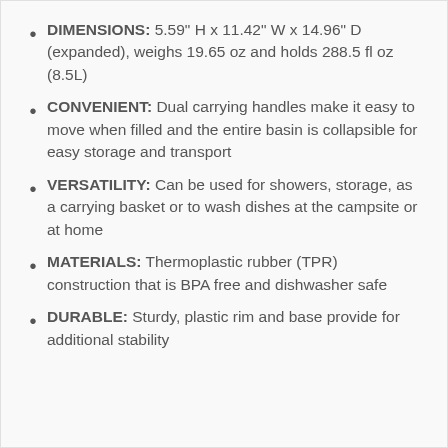DIMENSIONS: 5.59" H x 11.42" W x 14.96" D (expanded), weighs 19.65 oz and holds 288.5 fl oz (8.5L)
CONVENIENT: Dual carrying handles make it easy to move when filled and the entire basin is collapsible for easy storage and transport
VERSATILITY: Can be used for showers, storage, as a carrying basket or to wash dishes at the campsite or at home
MATERIALS: Thermoplastic rubber (TPR) construction that is BPA free and dishwasher safe
DURABLE: Sturdy, plastic rim and base provide for additional stability